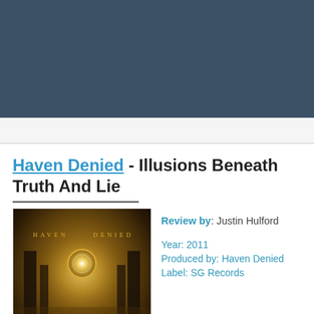[Figure (other): Dark blue-grey header banner background]
Haven Denied - Illusions Beneath Truth And Lie
[Figure (photo): Album art for Haven Denied - Illusions Beneath Truth And Lie, dark fantasy style with pillars and glowing orb]
Review by: Justin Hulford
Year: 2011
Produced by: Haven Denied
Label: SG Records